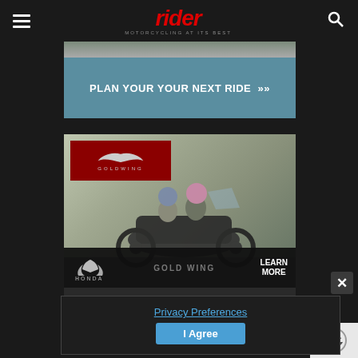rider MOTORCYCLING AT ITS BEST
[Figure (advertisement): PLAN YOUR YOUR NEXT RIDE >> banner ad with teal/blue background]
[Figure (advertisement): Honda Gold Wing motorcycle advertisement showing two riders on a Gold Wing motorcycle with rocky cliffs background. Gold Wing badge in red top-left corner. Bottom bar shows Honda wing logo, GOLD WING text, and LEARN MORE button.]
Privacy Preferences
I Agree